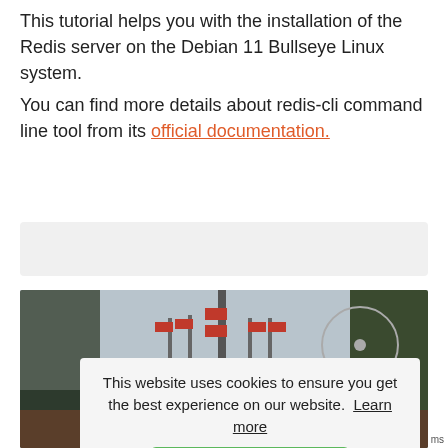This tutorial helps you with the installation of the Redis server on the Debian 11 Bullseye Linux system.
You can find more details about redis-cli command line tool from its official documentation.
[Figure (photo): A photo of flags on poles with trees and structures in the background, partially obscured by a cookie consent overlay]
This website uses cookies to ensure you get the best experience on our website. Learn more
Got it!